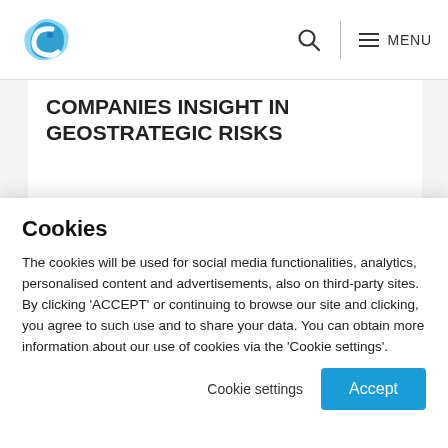MENU
COMPANIES INSIGHT IN GEOSTRATEGIC RISKS
— SHOW ALL NEWS
Cookies
The cookies will be used for social media functionalities, analytics, personalised content and advertisements, also on third-party sites. By clicking 'ACCEPT' or continuing to browse our site and clicking, you agree to such use and to share your data. You can obtain more information about our use of cookies via the 'Cookie settings'.
Cookie settings    Accept